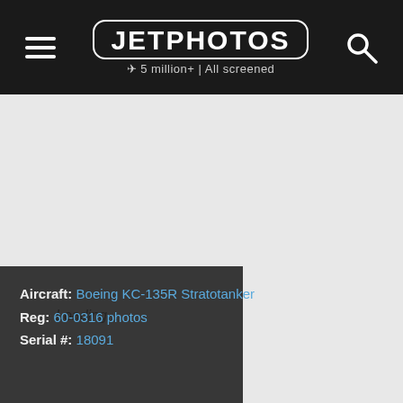[Figure (screenshot): JetPhotos website navigation bar with hamburger menu, JETPHOTOS logo with '5 million+ | All screened' tagline, and search icon on dark background]
[Figure (photo): Large light grey content area representing a loading photo placeholder for Boeing KC-135R Stratotanker]
Loading...
Aircraft: Boeing KC-135R Stratotanker
Reg: 60-0316 photos
Serial #: 18091